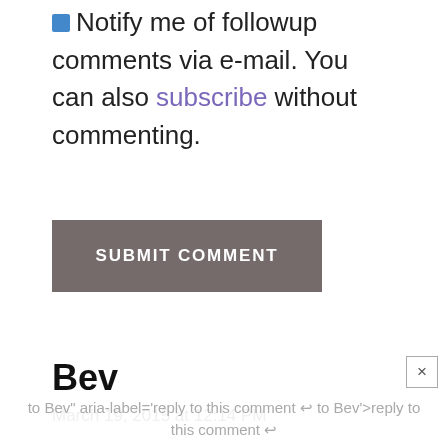Notify me of followup comments via e-mail. You can also subscribe without commenting.
[Figure (other): Submit Comment button — a dark brownish-grey rectangular button with white bold uppercase text 'SUBMIT COMMENT']
Bev
March 19, 2015 at 12:14 PM
Thanks for the info, but your Pinterest link doesn't work
to Bev" aria-label='reply to this comment ↩ to Bev'>reply to this comment ↩